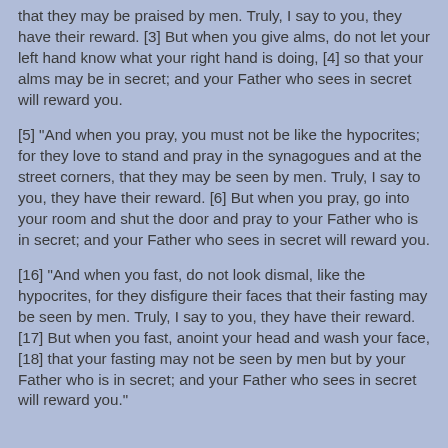that they may be praised by men. Truly, I say to you, they have their reward. [3] But when you give alms, do not let your left hand know what your right hand is doing, [4] so that your alms may be in secret; and your Father who sees in secret will reward you.
[5] "And when you pray, you must not be like the hypocrites; for they love to stand and pray in the synagogues and at the street corners, that they may be seen by men. Truly, I say to you, they have their reward. [6] But when you pray, go into your room and shut the door and pray to your Father who is in secret; and your Father who sees in secret will reward you.
[16] "And when you fast, do not look dismal, like the hypocrites, for they disfigure their faces that their fasting may be seen by men. Truly, I say to you, they have their reward. [17] But when you fast, anoint your head and wash your face, [18] that your fasting may not be seen by men but by your Father who is in secret; and your Father who sees in secret will reward you."